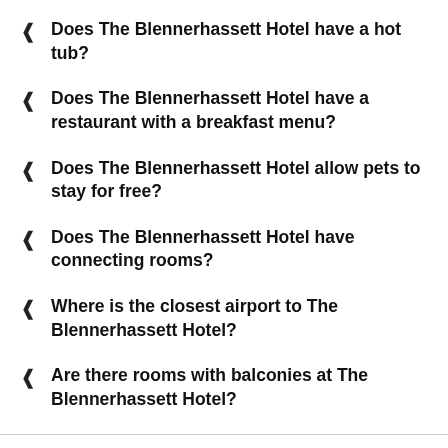Does The Blennerhassett Hotel have a hot tub?
Does The Blennerhassett Hotel have a restaurant with a breakfast menu?
Does The Blennerhassett Hotel allow pets to stay for free?
Does The Blennerhassett Hotel have connecting rooms?
Where is the closest airport to The Blennerhassett Hotel?
Are there rooms with balconies at The Blennerhassett Hotel?
Top Trending